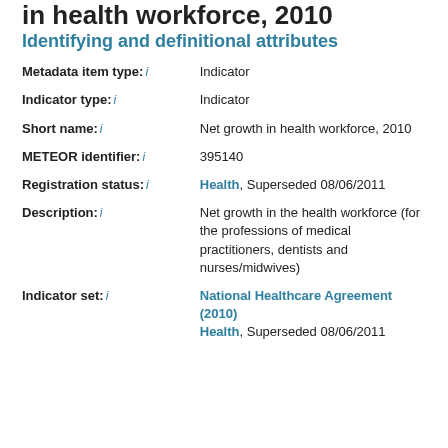in health workforce, 2010
Identifying and definitional attributes
| Attribute | Value |
| --- | --- |
| Metadata item type: i | Indicator |
| Indicator type: i | Indicator |
| Short name: i | Net growth in health workforce, 2010 |
| METEOR identifier: i | 395140 |
| Registration status: i | Health, Superseded 08/06/2011 |
| Description: i | Net growth in the health workforce (for the professions of medical practitioners, dentists and nurses/midwives) |
| Indicator set: i | National Healthcare Agreement (2010)
Health, Superseded 08/06/2011 |